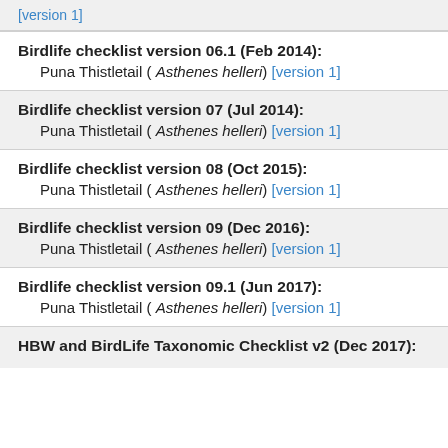[version 1]
Birdlife checklist version 06.1 (Feb 2014): Puna Thistletail ( Asthenes helleri) [version 1]
Birdlife checklist version 07 (Jul 2014): Puna Thistletail ( Asthenes helleri) [version 1]
Birdlife checklist version 08 (Oct 2015): Puna Thistletail ( Asthenes helleri) [version 1]
Birdlife checklist version 09 (Dec 2016): Puna Thistletail ( Asthenes helleri) [version 1]
Birdlife checklist version 09.1 (Jun 2017): Puna Thistletail ( Asthenes helleri) [version 1]
HBW and BirdLife Taxonomic Checklist v2 (Dec 2017):